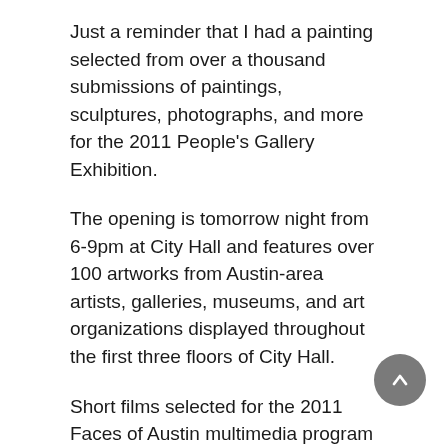Just a reminder that I had a painting selected from over a thousand submissions of paintings, sculptures, photographs, and more for the 2011 People's Gallery Exhibition.
The opening is tomorrow night from 6-9pm at City Hall and features over 100 artworks from Austin-area artists, galleries, museums, and art organizations displayed throughout the first three floors of City Hall.
Short films selected for the 2011 Faces of Austin multimedia program will have a premiere screening in City Council Chambers, starting at 7 p.m. And in the Atrium, enjoy music by The Djembabes and refreshments courtesy of Whole Foods Market.
Get updated event and parking information at Austin in Public Places